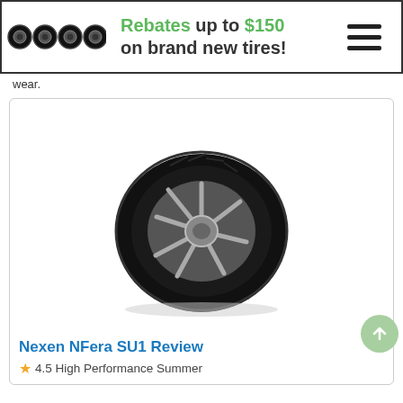[Figure (illustration): Banner with four black tires on the left, bold text: Rebates up to $150 on brand new tires!, and a hamburger menu icon on the right]
wear.
[Figure (photo): Product photo of a Nexen NFera SU1 tire with chrome alloy wheel, shown at an angle on a white background inside a card]
Nexen NFera SU1 Review
★4.5 High Performance Summer